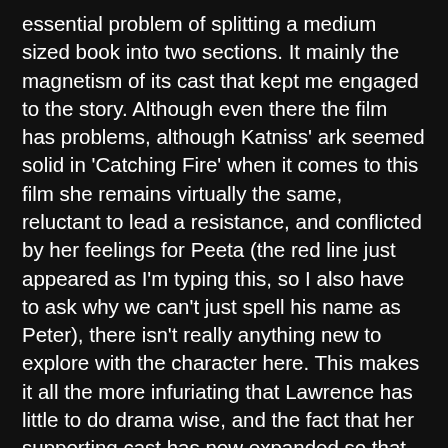essential problem of splitting a medium sized book into two sections. It mainly the magnetism of its cast that kept me engaged to the story. Although even there the film has problems, although Katniss' ark seemed solid in 'Catching Fire' when it comes to this film she remains virtually the same, reluctant to lead a resistance, and conflicted by her feelings for Peeta (the red line just appeared as I'm typing this, so I also have to ask why we can't just spell his name as Peter), there isn't really anything new to explore with the character here. This makes it all the more infuriating that Lawrence has little to do drama wise, and the fact that her supporting cast has now expanded so that in one movie you have Juliane Moore, P.S Hoffman, Stanley Tucci, Woody Harrelson and Elizabeth Banks, surely one of the best supporting casts in recent memory, but there isn't much for any of them to do really. The most they can do is allude to what might happen in the next instalment, the same goes for plot and action, nothing fully develops and nothing is fully resolved. Other classic sequels like 'Empire Strikes Back' would avoid this by closing character arcs or opening up potential new ones, not just continuing the same one without closure. There is still a lot to like, but ultimately for me